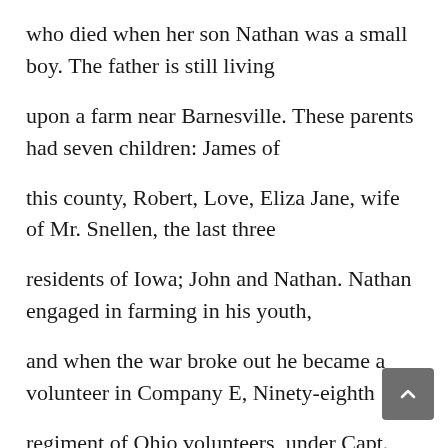who died when her son Nathan was a small boy. The father is still living
upon a farm near Barnesville. These parents had seven children: James of
this county, Robert, Love, Eliza Jane, wife of Mr. Snellen, the last three
residents of Iowa; John and Nathan. Nathan engaged in farming in his youth,
and when the war broke out he became a volunteer in Company E, Ninety-eighth
regiment of Ohio volunteers, under Capt. Cordner and Col. Webster. He was
wounded at Perrysville, Ky., and after lying in the hospital five weeks,